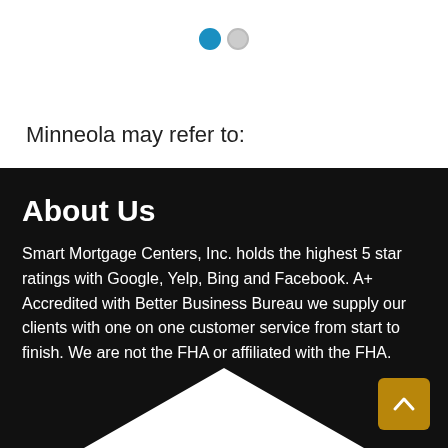[Figure (other): Navigation carousel dots: one filled blue circle and one empty gray circle, indicating a 2-slide carousel at slide 1]
Minneola may refer to:
About Us
Smart Mortgage Centers, Inc. holds the highest 5 star ratings with Google, Yelp, Bing and Facebook. A+ Accredited with Better Business Bureau we supply our clients with one on one customer service from start to finish. We are not the FHA or affiliated with the FHA.
[Figure (illustration): White rooftop/house silhouette shape at the bottom of the dark section]
[Figure (other): Back-to-top button: dark yellow/gold square with upward chevron arrow]